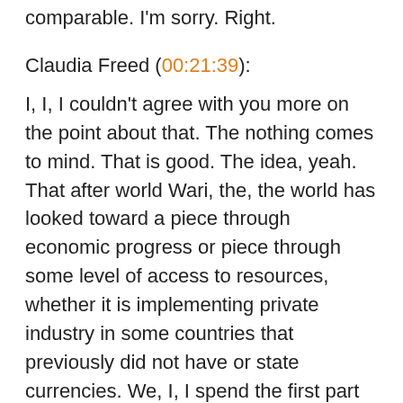comparable. I'm sorry. Right.
Claudia Freed (00:21:39):
I, I, I couldn't agree with you more on the point about that. The nothing comes to mind. That is good. The idea, yeah. That after world Wari, the, the world has looked toward a piece through economic progress or piece through some level of access to resources, whether it is implementing private industry in some countries that previously did not have or state currencies. We, I, I spend the first part of my career working for a wonderful organization that